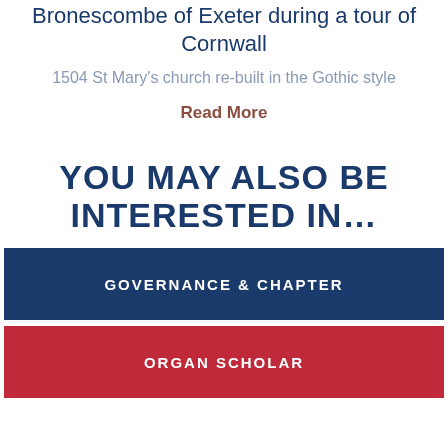Bronescombe of Exeter during a tour of Cornwall
1504 St Mary's church re-built in the Gothic style
Read More
YOU MAY ALSO BE INTERESTED IN…
GOVERNANCE & CHAPTER
ORGAN SCHOLAR